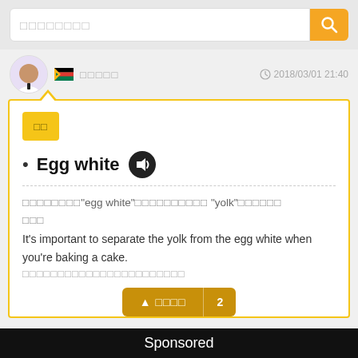[Figure (screenshot): Search bar with orange search button and magnifying glass icon, placeholder text in Thai/Japanese characters]
[Figure (screenshot): User row with avatar photo, South Africa flag, username in Thai characters, and timestamp 2018/03/01 21:40]
[Figure (screenshot): Yellow label box with Thai characters inside card]
Egg white (with speaker icon)
Thai text referencing "egg white" and "yolk"
Thai continuation text
It's important to separate the yolk from the egg white when you're baking a cake.
Thai translation of the example sentence
[Figure (screenshot): Partially visible orange vote/thumbs-up button with Thai text and number]
Sponsored